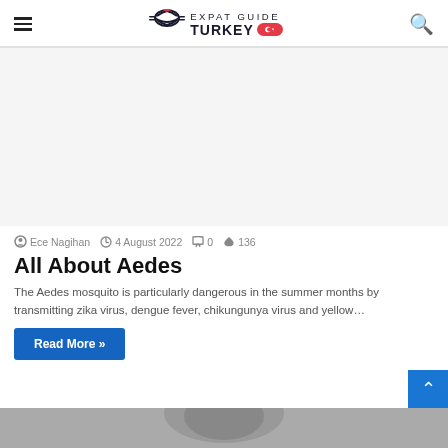Expat Guide Turkey
[Figure (other): Large advertisement/blank content area below the header navigation]
Ece Nagihan  4 August 2022  0  136
All About Aedes
The Aedes mosquito is particularly dangerous in the summer months by transmitting zika virus, dengue fever, chikungunya virus and yellow…
Read More »
[Figure (photo): Bottom strip showing partial image, likely a person or related article photo]